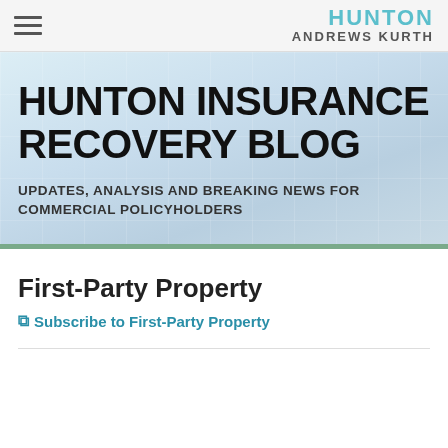HUNTON ANDREWS KURTH
HUNTON INSURANCE RECOVERY BLOG
UPDATES, ANALYSIS AND BREAKING NEWS FOR COMMERCIAL POLICYHOLDERS
First-Party Property
Subscribe to First-Party Property